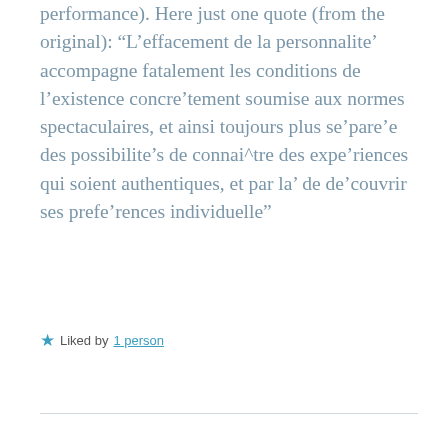performance). Here just one quote (from the original): “L’effacement de la personnalite’ accompagne fatalement les conditions de l’existence concre’tement soumise aux normes spectaculaires, et ainsi toujours plus se’pare’e des possibilite’s de connai^tre des expe’riences qui soient authentiques, et par la’ de de’couvrir ses prefe’rences individuelle”
Liked by 1 person